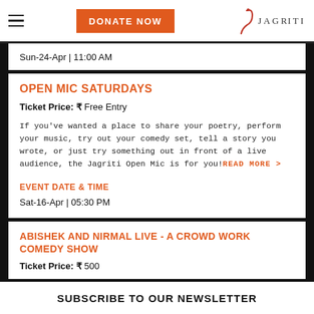DONATE NOW | JAGRITI
Sun-24-Apr | 11:00 AM
OPEN MIC SATURDAYS
Ticket Price: ₹ Free Entry
If you've wanted a place to share your poetry, perform your music, try out your comedy set, tell a story you wrote, or just try something out in front of a live audience, the Jagriti Open Mic is for you!READ MORE >
EVENT DATE & TIME
Sat-16-Apr | 05:30 PM
ABISHEK AND NIRMAL LIVE - A CROWD WORK COMEDY SHOW
Ticket Price: ₹ 500
SUBSCRIBE TO OUR NEWSLETTER